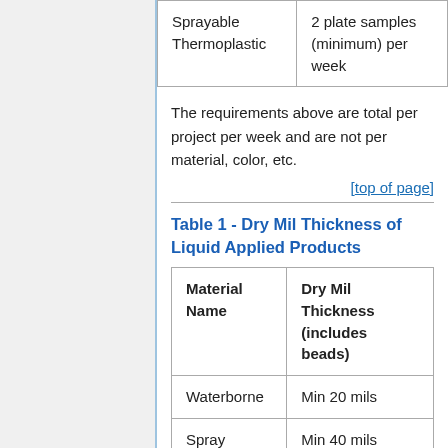| Sprayable Thermoplastic | 2 plate samples (minimum) per week |
The requirements above are total per project per week and are not per material, color, etc.
[top of page]
Table 1 - Dry Mil Thickness of Liquid Applied Products
| Material Name | Dry Mil Thickness (includes beads) |
| --- | --- |
| Waterborne | Min 20 mils |
| Spray Thermo | Min 40 mils |